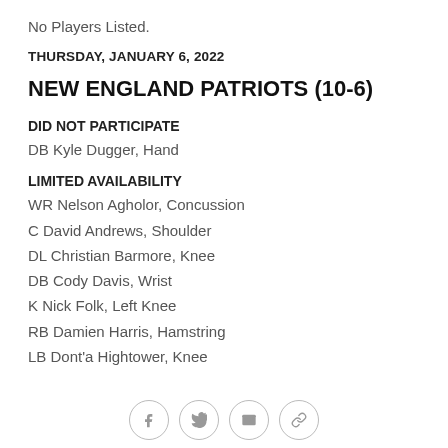No Players Listed.
THURSDAY, JANUARY 6, 2022
NEW ENGLAND PATRIOTS (10-6)
DID NOT PARTICIPATE
DB Kyle Dugger, Hand
LIMITED AVAILABILITY
WR Nelson Agholor, Concussion
C David Andrews, Shoulder
DL Christian Barmore, Knee
DB Cody Davis, Wrist
K Nick Folk, Left Knee
RB Damien Harris, Hamstring
LB Dont'a Hightower, Knee
[social icons: Facebook, Twitter, Email, Link]